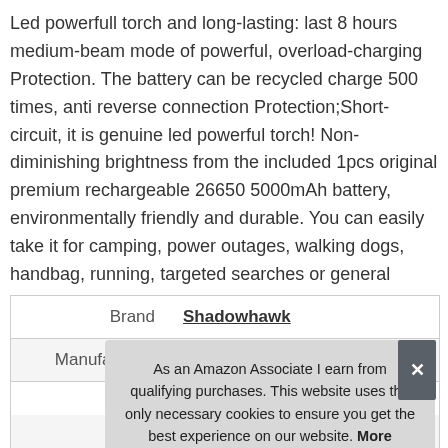Led powerfull torch and long-lasting: last 8 hours medium-beam mode of powerful, overload-charging Protection. The battery can be recycled charge 500 times, anti reverse connection Protection;Short-circuit, it is genuine led powerful torch! Non-diminishing brightness from the included 1pcs original premium rechargeable 26650 5000mAh battery, environmentally friendly and durable. You can easily take it for camping, power outages, walking dogs, handbag, running, targeted searches or general household use.
|  |  |
| --- | --- |
| Brand | Shadowhawk |
| Manufacturer | Shadowhawk |
As an Amazon Associate I earn from qualifying purchases. This website uses the only necessary cookies to ensure you get the best experience on our website. More information
|  |  |
| --- | --- |
| Width | 12 cm (4.72 Inches) |